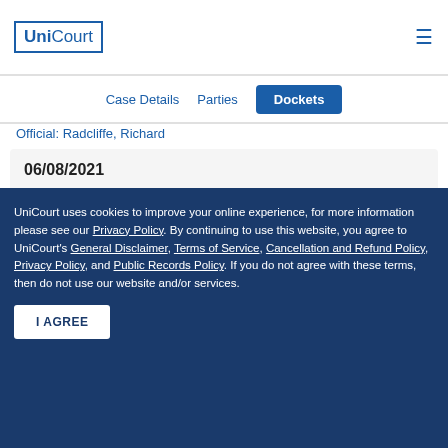UniCourt
Case Details   Parties   Dockets
Official: Radcliffe, Richard
06/08/2021
Docket   Event: Notice; Additional Text: Reminder Notice
05/21/2021
UniCourt uses cookies to improve your online experience, for more information please see our Privacy Policy. By continuing to use this website, you agree to UniCourt's General Disclaimer, Terms of Service, Cancellation and Refund Policy, Privacy Policy, and Public Records Policy. If you do not agree with these terms, then do not use our website and/or services.
I AGREE